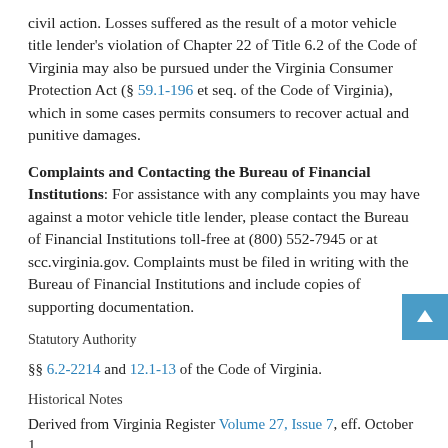civil action. Losses suffered as the result of a motor vehicle title lender's violation of Chapter 22 of Title 6.2 of the Code of Virginia may also be pursued under the Virginia Consumer Protection Act (§ 59.1-196 et seq. of the Code of Virginia), which in some cases permits consumers to recover actual and punitive damages.
Complaints and Contacting the Bureau of Financial Institutions: For assistance with any complaints you may have against a motor vehicle title lender, please contact the Bureau of Financial Institutions toll-free at (800) 552-7945 or at scc.virginia.gov. Complaints must be filed in writing with the Bureau of Financial Institutions and include copies of supporting documentation.
Statutory Authority
§§ 6.2-2214 and 12.1-13 of the Code of Virginia.
Historical Notes
Derived from Virginia Register Volume 27, Issue 7, eff. October 1,